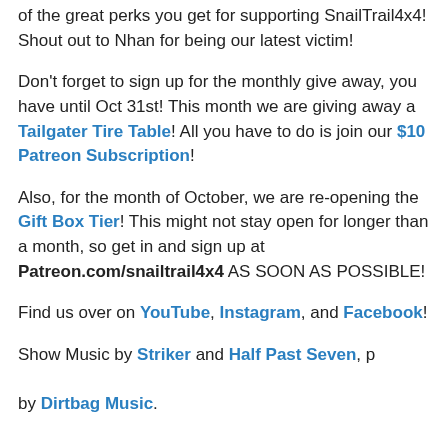of the great perks you get for supporting SnailTrail4x4! Shout out to Nhan for being our latest victim!
Don't forget to sign up for the monthly give away, you have until Oct 31st! This month we are giving away a Tailgater Tire Table! All you have to do is join our $10 Patreon Subscription!
Also, for the month of October, we are re-opening the Gift Box Tier! This might not stay open for longer than a month, so get in and sign up at Patreon.com/snailtrail4x4 AS SOON AS POSSIBLE!
Find us over on YouTube, Instagram, and Facebook!
Show Music by Striker and Half Past Seven, provided by Dirtbag Music.